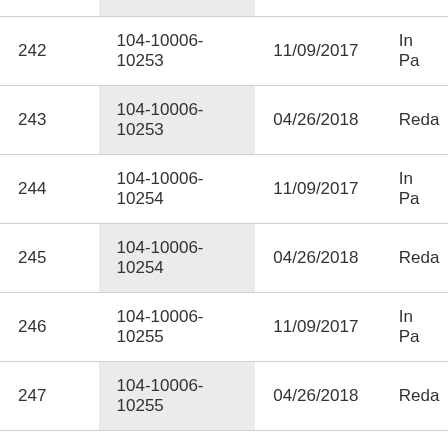|  |  |  |  |
| --- | --- | --- | --- |
| 242 | 104-10006-10253 | 11/09/2017 | In Pa |
| 243 | 104-10006-10253 | 04/26/2018 | Reda |
| 244 | 104-10006-10254 | 11/09/2017 | In Pa |
| 245 | 104-10006-10254 | 04/26/2018 | Reda |
| 246 | 104-10006-10255 | 11/09/2017 | In Pa |
| 247 | 104-10006-10255 | 04/26/2018 | Reda |
| 248 | 104-10006-10256 | 11/09/2017 | In Pa |
| 249 | 104-10006-10256 | 04/26/2018 | Reda |